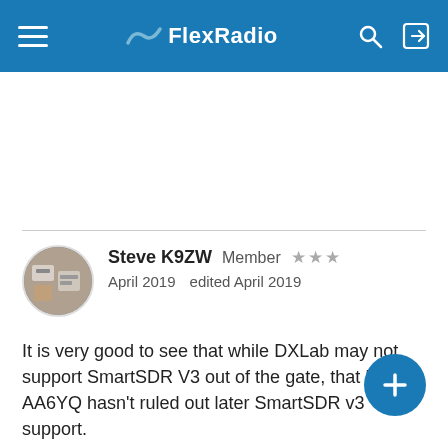FlexRadio
Steve K9ZW  Member  ★★★
April 2019   edited April 2019
It is very good to see that while DXLab may not support SmartSDR V3 out of the gate, that Dave AA6YQ hasn't ruled out later SmartSDR v3 support.
It also a good reminder how long te DXLab and FRS relationship has gone on, apparently a reasonable two-way dialogue for the most.
Hopefully there will be a meeting of the minds as SMartSDR v3 rolls out shortly.